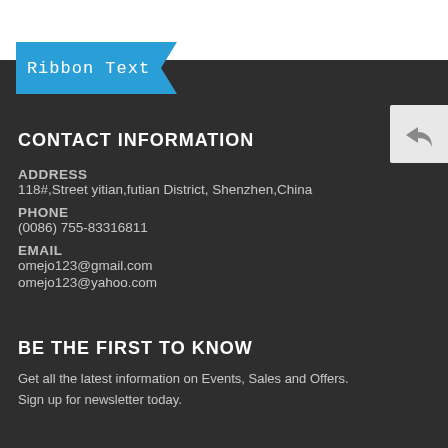Ribbon Text
CONTACT INFORMATION
ADDRESS
118#,Street yitian,futian District, Shenzhen,China
PHONE
(0086) 755-83316811
EMAIL
omejo123@gmail.com
omejo123@yahoo.com
BE THE FIRST TO KNOW
Get all the latest information on Events, Sales and Offers.
Sign up for newsletter today.